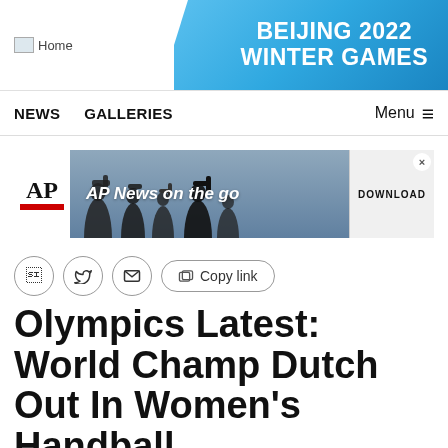Home | BEIJING 2022 WINTER GAMES
NEWS   GALLERIES   Menu ≡
[Figure (screenshot): AP News advertisement banner: AP logo on left with red bar, silhouettes of camera operators in background, text 'AP News on the go', DOWNLOAD button on right, X close button.]
Copy link
Olympics Latest: World Champ Dutch Out In Women's Handball
- Aug. 04, 2021 10:26 AM EDT